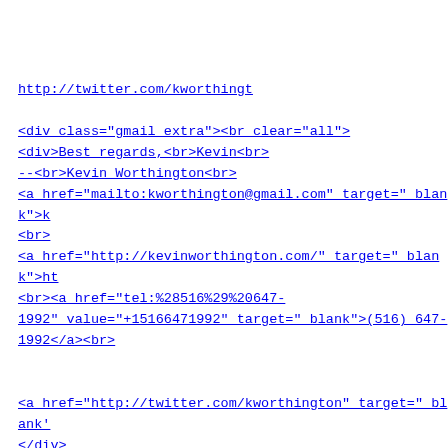<a href="http://twitter.com/kworthington" style="font-family:arial,sans-serif;font-size:13px" target="_blank">http://twitter.com/kworthingt<div class="gmail_extra"><br clear="all">
<div>Best regards,<br>Kevin<br>
--<br>Kevin Worthington<br>
<a href="mailto:kworthington@gmail.com" target="_blank">k
<br>
<a href="http://kevinworthington.com/" target="_blank">ht
<br><a href="tel:%28516%29%20647-1992" value="+15166471992" target="_blank">(516) 647-1992</a><br>


<a href="http://twitter.com/kworthington" target="_blank'
</div>
<br><br>
<div class="gmail_quote">On Tue, May 7, 2013 at 7:29 AM,
<<a href="mailto:mdounin@mdounin.ru" target="_blank">mdou
</span> wrote:<br>
<blockquote class="gmail_quote" style="margin:0px 0px 0px left:1px solid rgb(204,204,204);padding-left:1ex">